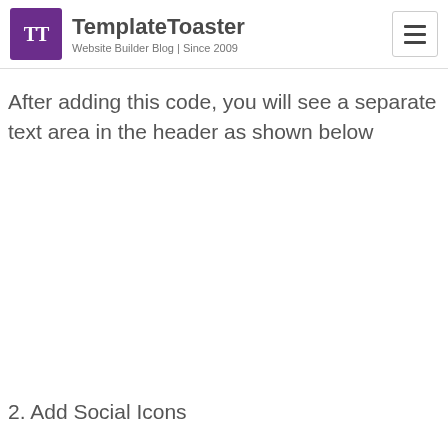TemplateToaster — Website Builder Blog | Since 2009
After adding this code, you will see a separate text area in the header as shown below
2. Add Social Icons